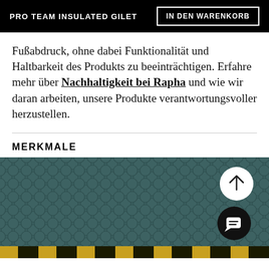PRO TEAM INSULATED GILET | IN DEN WARENKORB
Fußabdruck, ohne dabei Funktionalität und Haltbarkeit des Produkts zu beeinträchtigen. Erfahre mehr über Nachhaltigkeit bei Rapha und wie wir daran arbeiten, unsere Produkte verantwortungsvoller herzustellen.
MERKMALE
[Figure (photo): Close-up photo of dark teal quilted fabric texture with a scroll-up button (white circle with upward arrow) and a chat button (black circle with chat icon) overlaid in the bottom-right area.]